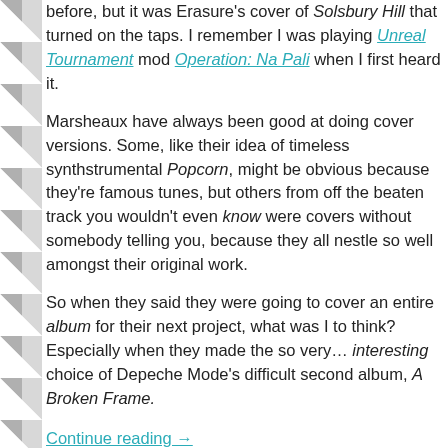before, but it was Erasure's cover of Solsbury Hill that turned on the taps. I remember I was playing Unreal Tournament mod Operation: Na Pali when I first heard it.
Marsheaux have always been good at doing cover versions. Some, like their idea of timeless synthstrumental Popcorn, might be obvious because they're famous tunes, but others from off the beaten track you wouldn't even know were covers without somebody telling you, because they all nestle so well amongst their original work.
So when they said they were going to cover an entire album for their next project, what was I to think? Especially when they made the so very… interesting choice of Depeche Mode's difficult second album, A Broken Frame.
Continue reading →